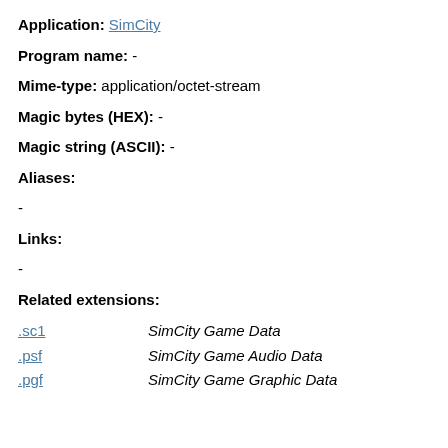Application: SimCity
Program name: -
Mime-type: application/octet-stream
Magic bytes (HEX): -
Magic string (ASCII): -
Aliases:
-
Links:
-
Related extensions:
| Extension | Description |
| --- | --- |
| .sc1 | SimCity Game Data |
| .psf | SimCity Game Audio Data |
| .pgf | SimCity Game Graphic Data |